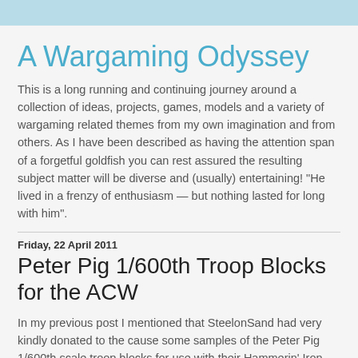A Wargaming Odyssey
This is a long running and continuing journey around a collection of ideas, projects, games, models and a variety of wargaming related themes from my own imagination and from others. As I have been described as having the attention span of a forgetful goldfish you can rest assured the resulting subject matter will be diverse and (usually) entertaining! "He lived in a frenzy of enthusiasm — but nothing lasted for long with him".
Friday, 22 April 2011
Peter Pig 1/600th Troop Blocks for the ACW
In my previous post I mentioned that SteelonSand had very kindly donated to the cause some samples of the Peter Pig 1/600th scale troop blocks for use with their Hammerin' Iron